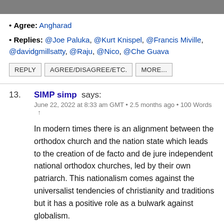[Figure (photo): Partial photo strip at top of page showing people]
• Agree: Angharad
• Replies: @Joe Paluka, @Kurt Knispel, @Francis Miville, @davidgmillsatty, @Raju, @Nico, @Che Guava
REPLY  AGREE/DISAGREE/ETC.  MORE...
13. SIMP simp says: June 22, 2022 at 8:33 am GMT • 2.5 months ago • 100 Words ↑
In modern times there is an alignment between the orthodox church and the nation state which leads to the creation of de facto and de jure independent national orthodox churches, led by their own patriarch. This nationalism comes against the universalist tendencies of christianity and traditions but it has a positive role as a bulwark against globalism.
For me the ideal is to have the nation, the state and the church overlap perfectly between the same borders.
It is only natural that as ukrainians are seeking to establishing a nation state that they seek to also establish a national orthodox